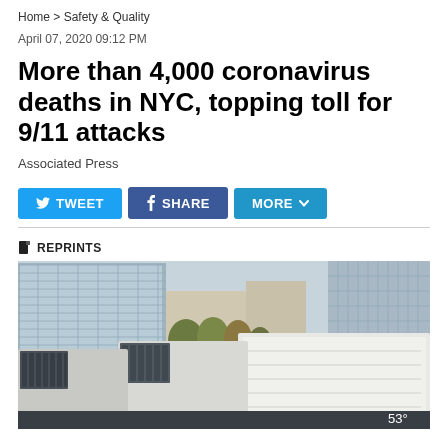Home > Safety & Quality
April 07, 2020 09:12 PM
More than 4,000 coronavirus deaths in NYC, topping toll for 9/11 attacks
Associated Press
[Figure (screenshot): Social sharing buttons: TWEET, SHARE, MORE]
REPRINTS
[Figure (photo): Refrigerator trucks lined up outside a building in New York City, with glass-facade skyscrapers and trees in the background. A temperature of 53° is shown in the lower right corner.]